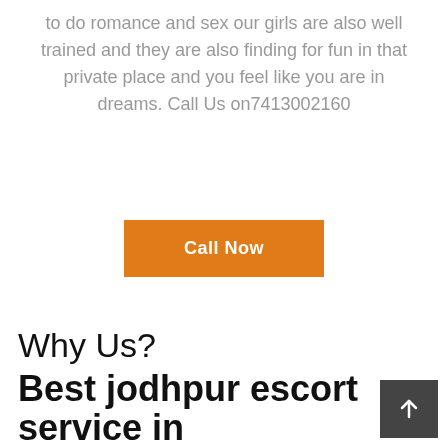to do romance and sex our girls are also well trained and they are also finding for fun in that private place and you feel like you are in dreams. Call Us on7413002160
Call Now
Why Us?
Best jodhpur escort service in